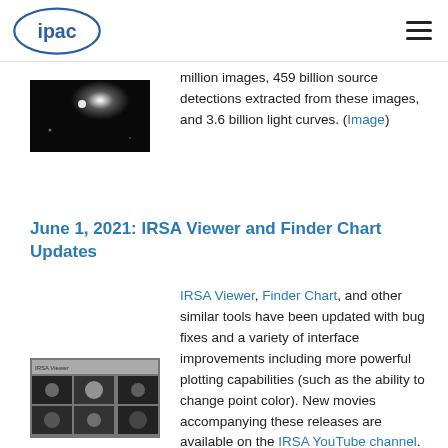IPAC logo and navigation menu
million images, 459 billion source detections extracted from these images, and 3.6 billion light curves. (Image)
June 1, 2021: IRSA Viewer and Finder Chart Updates
IRSA Viewer, Finder Chart, and other similar tools have been updated with bug fixes and a variety of interface improvements including more powerful plotting capabilities (such as the ability to change point color). New movies accompanying these releases are available on the IRSA YouTube channel. (Image)